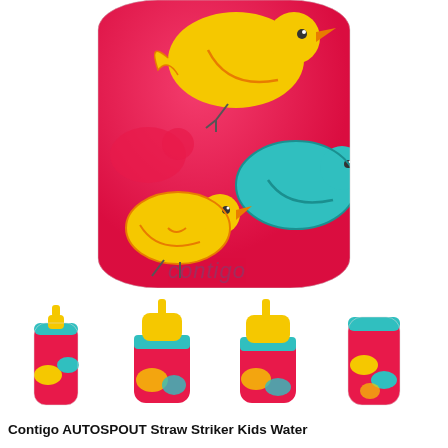[Figure (photo): Main product image: Contigo kids water bottle with pink body decorated with colorful cartoon birds (yellow and teal), showing the bottom portion of the bottle with 'contigo' branding text visible]
[Figure (photo): Thumbnail 1: Full front view of Contigo kids water bottle with autospout lid, pink with bird design]
[Figure (photo): Thumbnail 2: Close-up of bottle top/spout area, teal and yellow lid, pink body with birds]
[Figure (photo): Thumbnail 3: Another close-up of bottle spout area from slightly different angle]
[Figure (photo): Thumbnail 4: Side view showing teal band and pink body with bird design]
Contigo AUTOSPOUT Straw Striker Kids Water